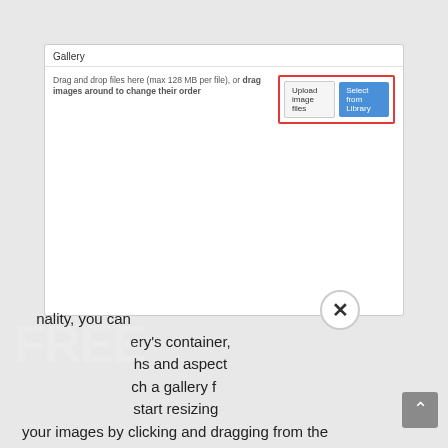[Figure (screenshot): Gallery upload panel with 'Upload image files' and 'Select from Library' buttons, outlined in red border]
nality, you can ery's container, hs and aspect ch a gallery f 'o start resizing your images by clicking and dragging from the
[Figure (infographic): FREE Digital Marketing Bundle popup with orange-red gradient background. Contains FREE label in white box, title 'Digital Marketing Bundle', bullet list: 5 PPT Templates, 5 PSD Templates, 5 Landing Page Templates, 5 Corporate Identity Templates. Then 'Enter your email to download the bundle', email input field, and Get Bundle button.]